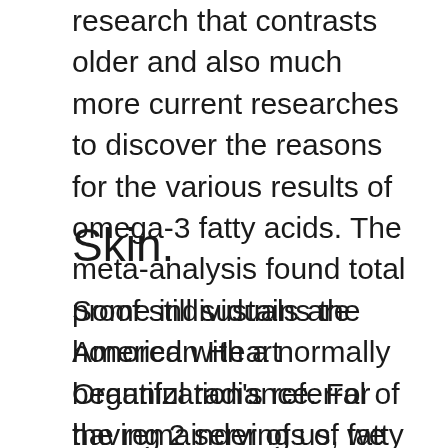research that contrasts older and also much more current researches to discover the reasons for the various results of omega-3 fatty acids. The meta-analysis found total proof still sustains the American Heart Organization's referral of having 2 servings of fatty fish weekly.3.
Skin.
Some individuals are honored with a normally beautiful radiance. For the remainder of us, we turn to skin care, serums and supplements to assist achieve the same impact. One nutrient you might wish to take into consideration is astaxanthin. This anti-oxidant has expanding evidence that it can be taken for skin look, especially aging skin